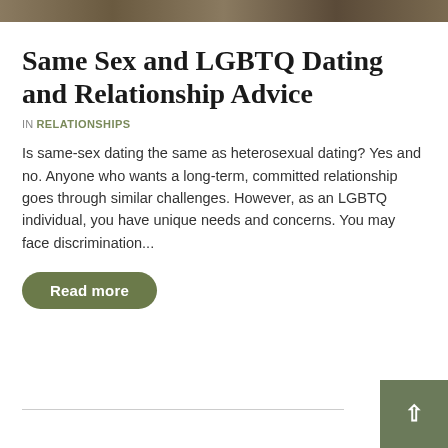[Figure (photo): Top portion of a photo showing two people, cropped at the top of the page]
Same Sex and LGBTQ Dating and Relationship Advice
IN RELATIONSHIPS
Is same-sex dating the same as heterosexual dating? Yes and no. Anyone who wants a long-term, committed relationship goes through similar challenges. However, as an LGBTQ individual, you have unique needs and concerns. You may face discrimination...
Read more